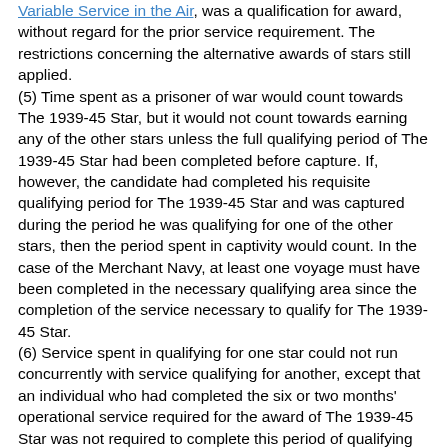Variable Service in the Air, was a qualification for award, without regard for the prior service requirement. The restrictions concerning the alternative awards of stars still applied. (5) Time spent as a prisoner of war would count towards The 1939-45 Star, but it would not count towards earning any of the other stars unless the full qualifying period of The 1939-45 Star had been completed before capture. If, however, the candidate had completed his requisite qualifying period for The 1939-45 Star and was captured during the period he was qualifying for one of the other stars, then the period spent in captivity would count. In the case of the Merchant Navy, at least one voyage must have been completed in the necessary qualifying area since the completion of the service necessary to qualify for The 1939-45 Star. (6) Service spent in qualifying for one star could not run concurrently with service qualifying for another, except that an individual who had completed the six or two months' operational service required for the award of The 1939-45 Star was not required to complete this period of qualifying period a second time in order to begin to qualify for another star. A similar arrangement applied to the prior service qualification for awards in the Navy and Merchant Navy of The Pacific Star, The Burma Star and The Italy Star. An exception was made to this rule in the case of the Merchant Navy as regards to The Atlantic Star that is mentioned in